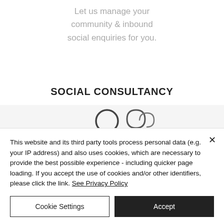Let us manage your community & inbound social enquiries for you.
SOCIAL CONSULTANCY
[Figure (illustration): Icon of three people / group silhouette outline, representing a community or social group.]
This website and its third party tools process personal data (e.g. your IP address) and also uses cookies, which are necessary to provide the best possible experience - including quicker page loading. If you accept the use of cookies and/or other identifiers, please click the link. See Privacy Policy
Cookie Settings
Accept